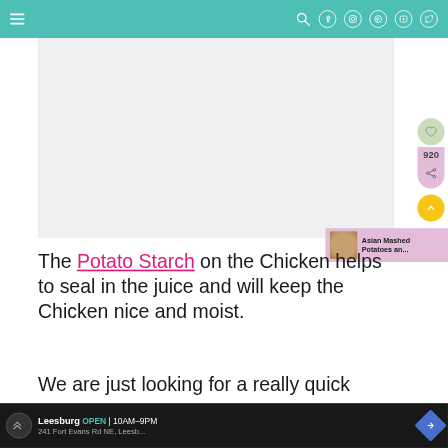Navigation bar with hamburger menu and social icons (Facebook, Instagram, Pinterest, YouTube, Twitter)
[Figure (photo): Light gray image placeholder area (advertisement or recipe photo)]
[Figure (infographic): Side social share widgets: heart icon (green circle), 920 share count (pink), share icon (pink circle), scroll-up button (yellow circle)]
[Figure (infographic): Related content popup: thumbnail of Asian Mashed Potatoes, text 'Asian Mashed Potatoes an...']
The Potato Starch on the Chicken helps to seal in the juice and will keep the Chicken nice and moist.
We are just looking for a really quick s... h will
[Figure (infographic): Ad banner: Leesburg OPEN 10AM-9PM, 241 Fort Evans Rd NE, Leesb... with navigation arrow icon]